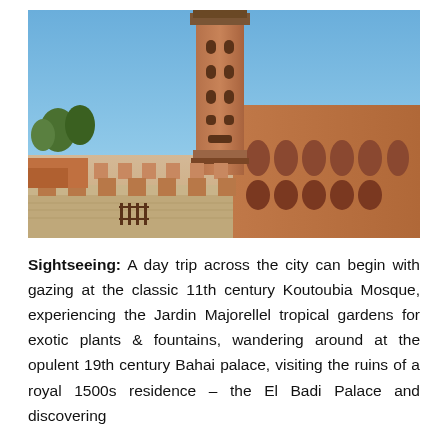[Figure (photo): Photograph of the Koutoubia Mosque minaret in Marrakech, Morocco. The tall reddish-brown brick minaret rises against a clear blue sky. In the foreground are rows of small stone pillars and ruins of an ancient site, with the mosque's exterior wall running along the right side.]
Sightseeing: A day trip across the city can begin with gazing at the classic 11th century Koutoubia Mosque, experiencing the Jardin Majorellel tropical gardens for exotic plants & fountains, wandering around at the opulent 19th century Bahai palace, visiting the ruins of a royal 1500s residence – the El Badi Palace and discovering